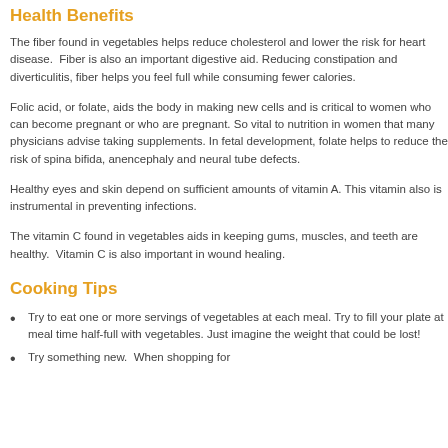Health Benefits
The fiber found in vegetables helps reduce cholesterol and lower the risk for heart disease. Fiber is also an important digestive aid. Reducing constipation and diverticulitis, fiber helps you feel full while consuming fewer calories.
Folic acid, or folate, aids the body in making new cells and is critical to women who can become pregnant or who are pregnant. So vital to nutrition in women that many physicians advise taking supplements. In fetal development, folate helps to reduce the risk of spina bifida, anencephaly and neural tube defects.
Healthy eyes and skin depend on sufficient amounts of vitamin A. This vitamin also is instrumental in preventing infections.
The vitamin C found in vegetables aids in keeping gums, muscles, and teeth are healthy. Vitamin C is also important in wound healing.
Cooking Tips
Try to eat one or more servings of vegetables at each meal. Try to fill your plate at meal time half-full with vegetables. Just imagine the weight that could be lost!
Try something new. When shopping for